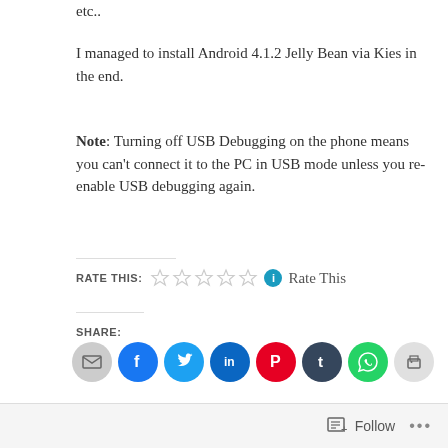etc..
I managed to install Android 4.1.2 Jelly Bean via Kies in the end.
Note: Turning off USB Debugging on the phone means you can't connect it to the PC in USB mode unless you re-enable USB debugging again.
RATE THIS: ☆☆☆☆☆ ⓘ Rate This
SHARE:
[Figure (infographic): Row of share icon buttons: email (grey), Facebook (blue), Twitter (cyan), LinkedIn (dark blue), Pinterest (red), Tumblr (dark navy), WhatsApp (green), Print (light grey)]
Loading...
Follow ...